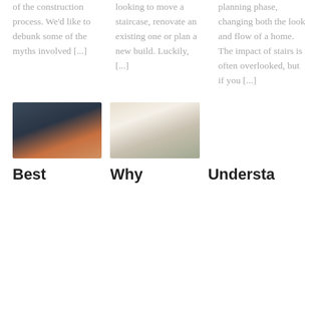of the construction process. We'd like to debunk some of the myths involved [...]
looking to move a staircase, renovate an existing one or plan a new build. Luckily, [...]
planning phase, changing both the look and flow of a home. The impact of stairs is often overlooked, but if you [...]
[Figure (photo): Staircase with warm LED lighting at the base, dark blue/teal color scheme]
[Figure (photo): Bright interior staircase with skylight, metal railings, and plant]
Best
Why
Understa